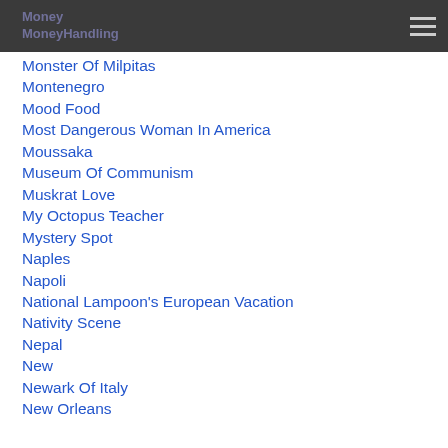Money
MoneyHandling
Monster Of Milpitas
Montenegro
Mood Food
Most Dangerous Woman In America
Moussaka
Museum Of Communism
Muskrat Love
My Octopus Teacher
Mystery Spot
Naples
Napoli
National Lampoon's European Vacation
Nativity Scene
Nepal
New
Newark Of Italy
New Orleans